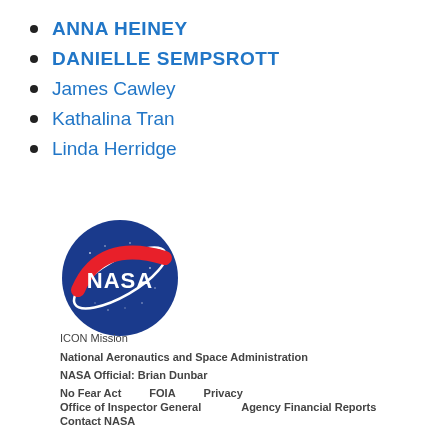ANNA HEINEY
DANIELLE SEMPSROTT
James Cawley
Kathalina Tran
Linda Herridge
[Figure (logo): NASA meatball logo — blue circle with white NASA text and a red swoosh]
ICON Mission
National Aeronautics and Space Administration
NASA Official: Brian Dunbar
No Fear Act    FOIA    Privacy
Office of Inspector General    Agency Financial Reports
Contact NASA